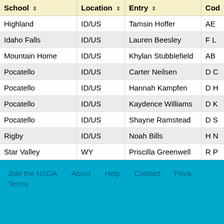| School | Location | Entry | Cod |
| --- | --- | --- | --- |
| Highland | ID/US | Tamsin Hoffer | AE |
| Idaho Falls | ID/US | Lauren Beesley | F L |
| Mountain Home | ID/US | Khylan Stubblefield | AB |
| Pocatello | ID/US | Carter Neilsen | D C |
| Pocatello | ID/US | Hannah Kampfen | D H |
| Pocatello | ID/US | Kaydence Williams | D K |
| Pocatello | ID/US | Shayne Ramstead | D S |
| Rigby | ID/US | Noah Bills | H N |
| Star Valley | WY | Priscilla Greenwell | R P |
Join the NSDA   About   Help   Contact   Priva   Terms